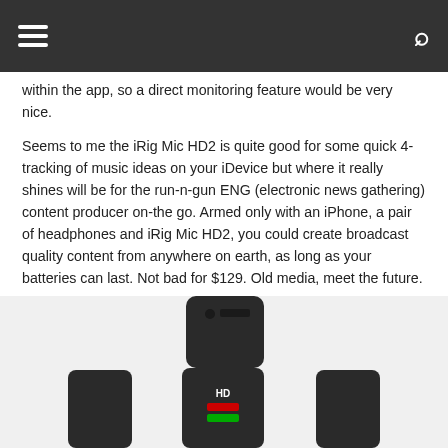[hamburger menu] [search icon]
within the app, so a direct monitoring feature would be very nice.
Seems to me the iRig Mic HD2 is quite good for some quick 4-tracking of music ideas on your iDevice but where it really shines will be for the run-n-gun ENG (electronic news gathering) content producer on-the go. Armed only with an iPhone, a pair of headphones and iRig Mic HD2, you could create broadcast quality content from anywhere on earth, as long as your batteries can last. Not bad for $129. Old media, meet the future.
iRig Pre HD
[Figure (photo): Multiple views of the iRig Pre HD device, a small black rectangular audio interface, shown from different angles. One unit shown from the top, and three units shown from the front including one with a red/green LED indicator and 'HD' label visible.]